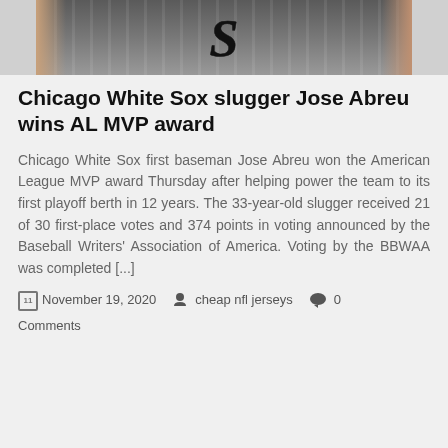[Figure (photo): A person wearing a Chicago White Sox pinstripe baseball jersey with the Sox logo visible]
Chicago White Sox slugger Jose Abreu wins AL MVP award
Chicago White Sox first baseman Jose Abreu won the American League MVP award Thursday after helping power the team to its first playoff berth in 12 years. The 33-year-old slugger received 21 of 30 first-place votes and 374 points in voting announced by the Baseball Writers' Association of America. Voting by the BBWAA was completed [...]
November 19, 2020  cheap nfl jerseys  0 Comments